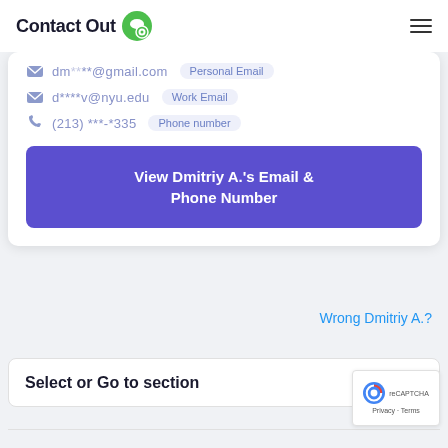Contact Out
dm****@gmail.com Personal Email
d****v@nyu.edu Work Email
(213) ***-*335 Phone number
View Dmitriy A.'s Email & Phone Number
Wrong Dmitriy A.?
Select or Go to section